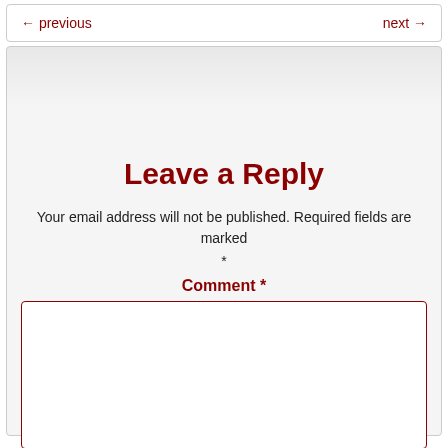← previous    next →
Leave a Reply
Your email address will not be published. Required fields are marked *
Comment *
Name *